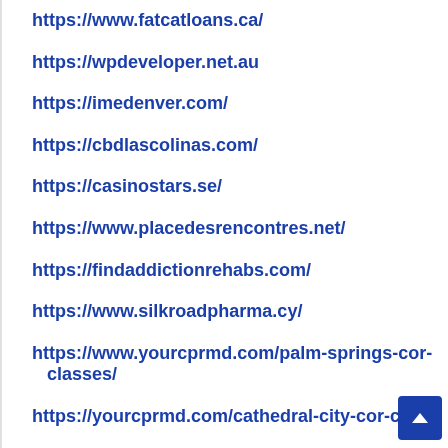https://www.fatcatloans.ca/
https://wpdeveloper.net.au
https://imedenver.com/
https://cbdlascolinas.com/
https://casinostars.se/
https://www.placedesrencontres.net/
https://findaddictionrehabs.com/
https://www.silkroadpharma.cy/
https://www.yourcprmd.com/palm-springs-cor-classes/
https://yourcprmd.com/cathedral-city-cor-c…es